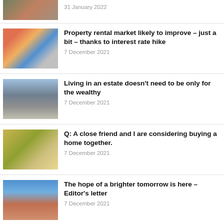[Figure (photo): Aerial view of residential buildings, partially cropped at top]
31 January 2022
[Figure (photo): Modern apartment buildings with colorful facades]
Property rental market likely to improve – just a bit – thanks to interest rate hike
7 December 2021
[Figure (photo): Modern glass building with curved architecture]
Living in an estate doesn't need to be only for the wealthy
7 December 2021
[Figure (photo): Book or pamphlet about buying a home with keys and money]
Q: A close friend and I are considering buying a home together.
7 December 2021
[Figure (photo): Two people outdoors, one holding keys, against blue sky]
The hope of a brighter tomorrow is here – Editor's letter
7 December 2021